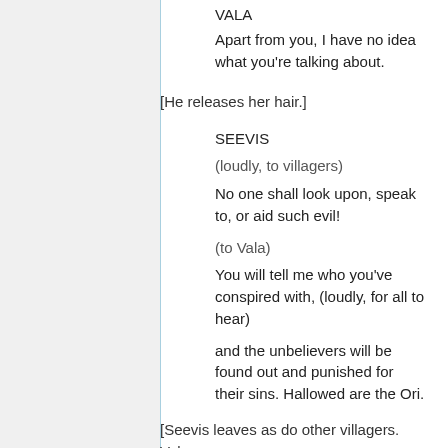VALA
Apart from you, I have no idea what you're talking about.
[He releases her hair.]
SEEVIS
(loudly, to villagers)
No one shall look upon, speak to, or aid such evil!
(to Vala)
You will tell me who you've conspired with, (loudly, for all to hear)
and the unbelievers will be found out and punished for their sins. Hallowed are the Ori.
[Seevis leaves as do other villagers. Vala